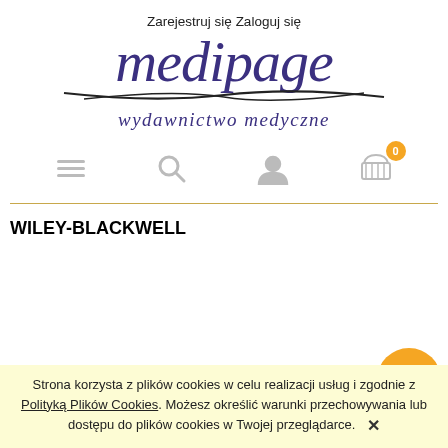Zarejestruj się   Zaloguj się
[Figure (logo): Medipage wydawnictwo medyczne logo with stylized italic text and swoosh underline]
[Figure (infographic): Navigation bar with hamburger menu icon, search icon, user icon, and shopping cart icon with orange badge showing 0]
WILEY-BLACKWELL
Strona korzysta z plików cookies w celu realizacji usług i zgodnie z Polityką Plików Cookies. Możesz określić warunki przechowywania lub dostępu do plików cookies w Twojej przeglądarce.